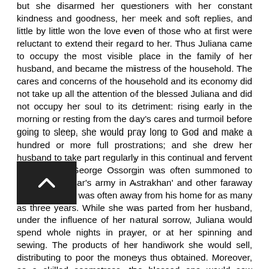but she disarmed her questioners with her constant kindness and goodness, her meek and soft replies, and little by little won the love even of those who at first were reluctant to extend their regard to her. Thus Juliana came to occupy the most visible place in the family of her husband, and became the mistress of the household. The cares and concerns of the household and its economy did not take up all the attention of the blessed Juliana and did not occupy her soul to its detriment: rising early in the morning or resting from the day's cares and turmoil before going to sleep, she would pray long to God and make a hundred or more full prostrations; and she drew her husband to take part regularly in this continual and fervent supplication. George Ossorgin was often summoned to serve in the tsar's army in Astrakhan' and other faraway places, and he was often away from his home for as many as three years. While she was parted from her husband, under the influence of her natural sorrow, Juliana would spend whole nights in prayer, or at her spinning and sewing. The products of her handiwork she would sell, distributing to poor the moneys thus obtained. Moreover, as a skilled seamstress, the blessed one would sew shrouds and donate them to the church. She kept her benefactions a secret from her husband's parents. She would send a trusted handmaid forth at night to distribute her alms. She cared for widows and orphans like a true mother, washed them with her own hands, fed them, gave them drink and sewed clothing for them. She ran a well-ordered household, where everyone knew what tasks he was expected to perform, yet she was always kind and meek with the